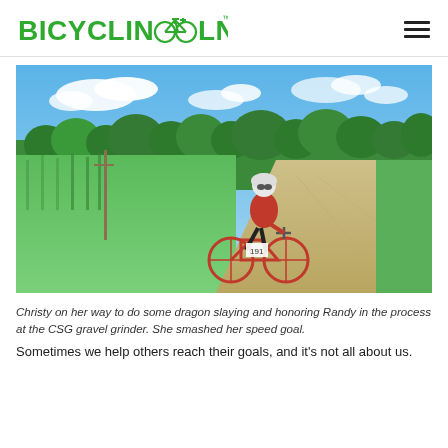BICYCLINCOLN
[Figure (photo): A cyclist in a red jersey and helmet standing with a red gravel bike on a dirt gravel road surrounded by green fields, trees, and a blue sky with clouds.]
Christy on her way to do some dragon slaying and honoring Randy in the process at the CSG gravel grinder. She smashed her speed goal.
Sometimes we help others reach their goals, and it's not all about us.